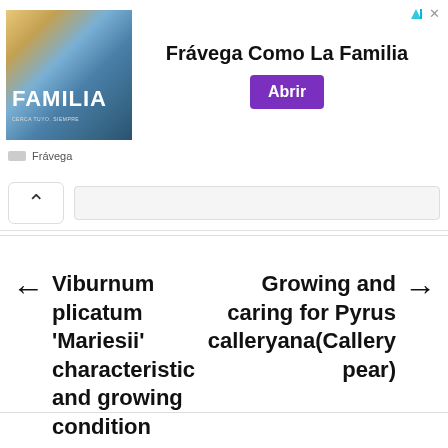[Figure (screenshot): Advertisement banner for Frávega showing image with FAMILIA text, headline 'Frávega Como La Familia', and purple 'Abrir' button]
Frávega
← Viburnum plicatum 'Mariesii' characteristic and growing condition
Growing and caring for Pyrus calleryana(Callery pear) →